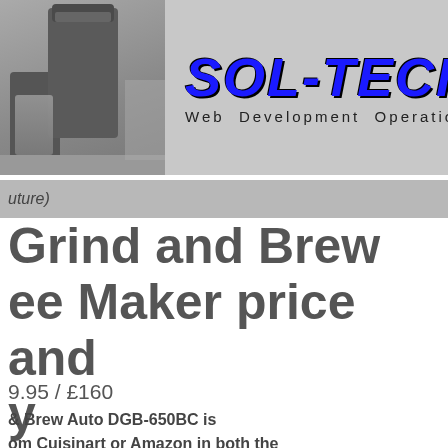[Figure (logo): Sol-Tech Web Development Operations logo with coffee maker photo on the left and blue bold italic SOL-TECH text with 'Web Development Operations' subtitle on grey background]
uture)
Grind and Brew
ee Maker price and
y
9.95 / £160
& Brew Auto DGB-650BC is
om Cuisinart or Amazon in both the
pean grinding function and thermal
expensive than the most basic